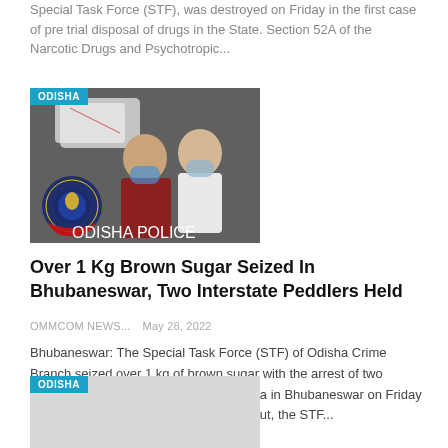Special Task Force (STF), was destroyed on Friday in the first case of pre trial disposal of drugs in the State. Section 52A of the Narcotic Drugs and Psychotropic...
[Figure (photo): Photo of two masked men with Odisha police badge overlay, with ODISHA label badge in top left corner]
Over 1 Kg Brown Sugar Seized In Bhubaneswar, Two Interstate Peddlers Held
OMMCOM NEWS...   May 28, 2022
Bhubaneswar: The Special Task Force (STF) of Odisha Crime Branch seized over 1 kg of brown sugar with the arrest of two interstate drug peddlers near Baramunda in Bhubaneswar on Friday evening. On the basis of intelligence input, the STF...
[Figure (photo): Partially visible news image with ODISHA label badge in top left corner]